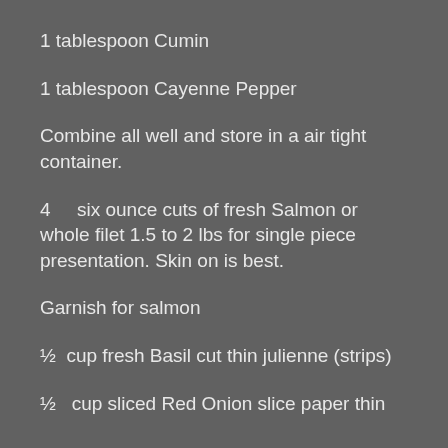1 tablespoon Cumin
1 tablespoon Cayenne Pepper
Combine all well and store in a air tight container.
4     six ounce cuts of fresh Salmon or whole filet 1.5 to 2 lbs for single piece presentation. Skin on is best.
Garnish for salmon
½  cup fresh Basil cut thin julienne (strips)
½   cup sliced Red Onion slice paper thin